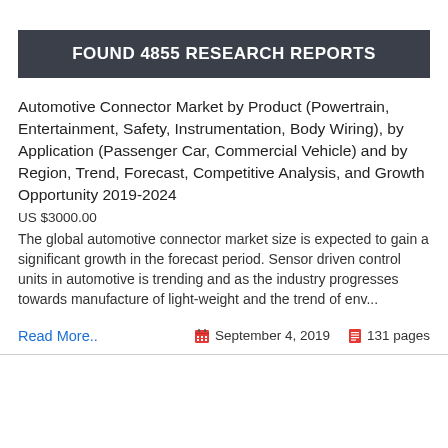FOUND 4855 RESEARCH REPORTS
Automotive Connector Market by Product (Powertrain, Entertainment, Safety, Instrumentation, Body Wiring), by Application (Passenger Car, Commercial Vehicle) and by Region, Trend, Forecast, Competitive Analysis, and Growth Opportunity 2019-2024
US $3000.00
The global automotive connector market size is expected to gain a significant growth in the forecast period. Sensor driven control units in automotive is trending and as the industry progresses towards manufacture of light-weight and the trend of env...
Read More..  September 4, 2019  131 pages